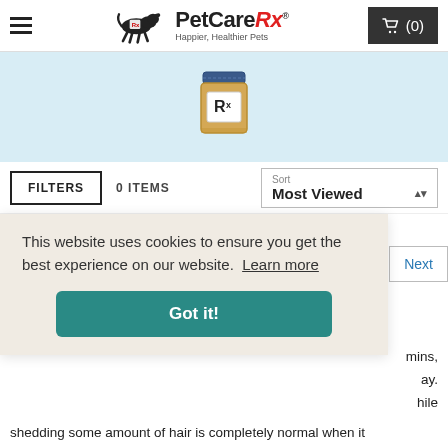PetCareRx — Happier, Healthier Pets
[Figure (illustration): Prescription pill bottle icon with Rx label, illustrated in yellow/tan with dark blue cap]
FILTERS   0 ITEMS   Sort: Most Viewed
This website uses cookies to ensure you get the best experience on our website. Learn more
Got it!
mins, ay. hile shedding some amount of hair is completely normal when it